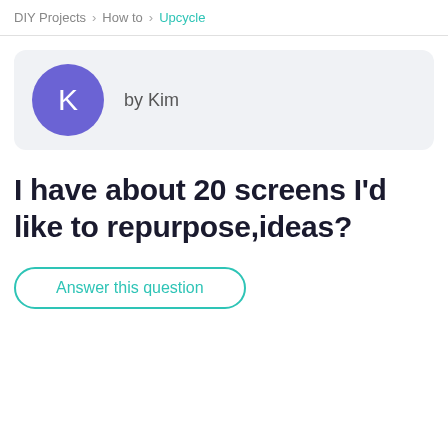DIY Projects › How to › Upcycle
by Kim
I have about 20 screens I'd like to repurpose,ideas?
Answer this question